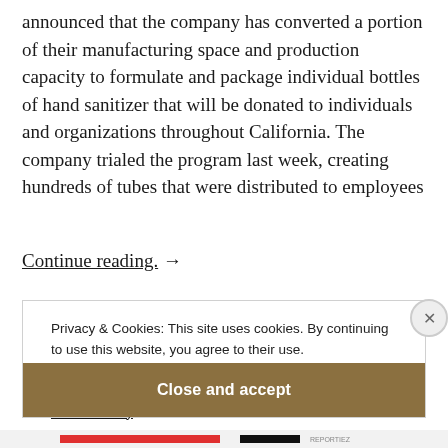announced that the company has converted a portion of their manufacturing space and production capacity to formulate and package individual bottles of hand sanitizer that will be donated to individuals and organizations throughout California. The company trialed the program last week, creating hundreds of tubes that were distributed to employees
Continue reading. →
Privacy & Cookies: This site uses cookies. By continuing to use this website, you agree to their use.
To find out more, including how to control cookies, see here: Cookie Policy
Close and accept